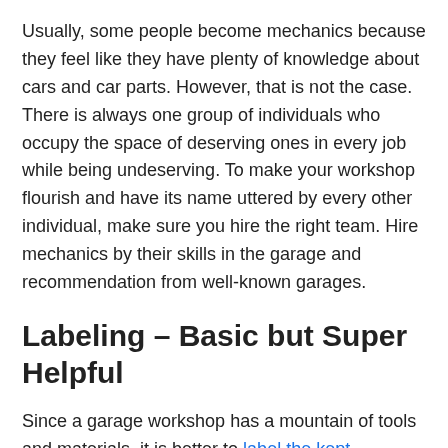Usually, some people become mechanics because they feel like they have plenty of knowledge about cars and car parts. However, that is not the case. There is always one group of individuals who occupy the space of deserving ones in every job while being undeserving. To make your workshop flourish and have its name uttered by every other individual, make sure you hire the right team. Hire mechanics by their skills in the garage and recommendation from well-known garages.
Labeling – Basic but Super Helpful
Since a garage workshop has a mountain of tools and materials, it is better to label the kept…